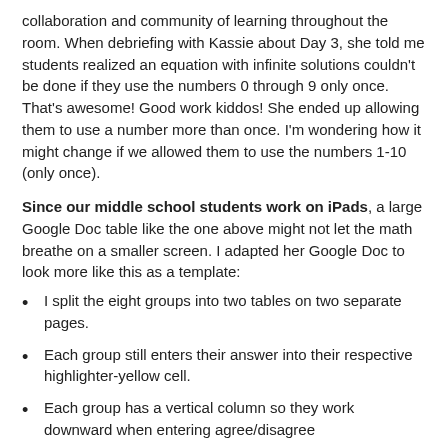collaboration and community of learning throughout the room. When debriefing with Kassie about Day 3, she told me students realized an equation with infinite solutions couldn't be done if they use the numbers 0 through 9 only once. That's awesome! Good work kiddos! She ended up allowing them to use a number more than once. I'm wondering how it might change if we allowed them to use the numbers 1-10 (only once).
Since our middle school students work on iPads, a large Google Doc table like the one above might not let the math breathe on a smaller screen. I adapted her Google Doc to look more like this as a template:
I split the eight groups into two tables on two separate pages.
Each group still enters their answer into their respective highlighter-yellow cell.
Each group has a vertical column so they work downward when entering agree/disagree